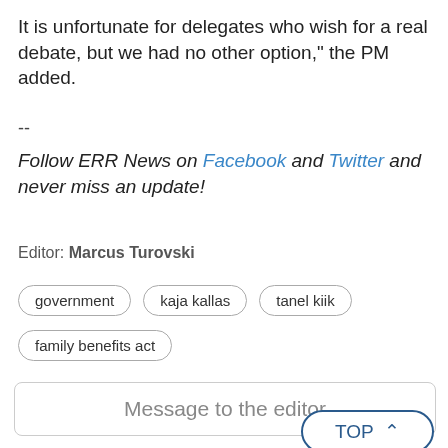It is unfortunate for delegates who wish for a real debate, but we had no other option," the PM added.
--
Follow ERR News on Facebook and Twitter and never miss an update!
Editor: Marcus Turovski
government
kaja kallas
tanel kiik
family benefits act
Message to the editor
TOP ^